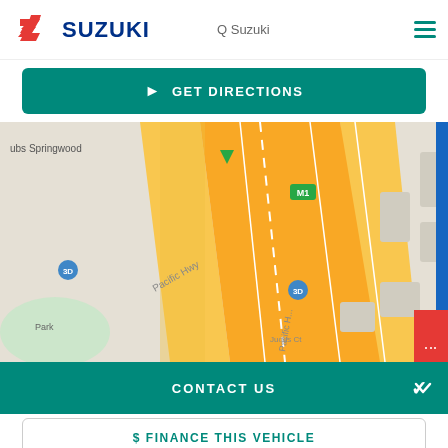SUZUKI Q Suzuki
GET DIRECTIONS
[Figure (map): Google Maps view showing Springwood area with Pacific Hwy, M1 motorway, Vanessa Blvd, Carol Ave, Briggs Rd, Judds Ct roads visible. Early Education Centre labeled. Road markings 3D and M1 visible.]
CONTACT US
$ FINANCE THIS VEHICLE